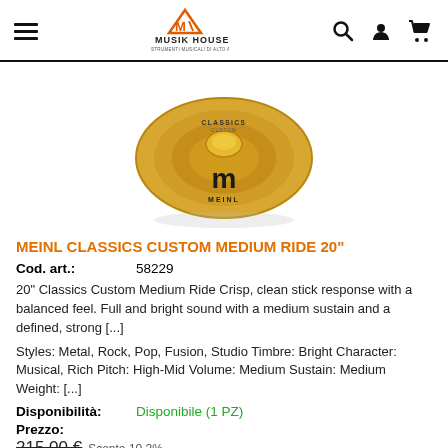Musik House — navigation header with hamburger menu, logo, search, account, cart icons
[Figure (photo): Meinl Classics Custom Medium Ride cymbal, gold/bronze color with black Meinl logo, viewed from above at slight angle]
MEINL CLASSICS CUSTOM MEDIUM RIDE 20"
Cod. art.: 58229
20" Classics Custom Medium Ride Crisp, clean stick response with a balanced feel. Full and bright sound with a medium sustain and a defined, strong [...]
Styles: Metal, Rock, Pop, Fusion, Studio Timbre: Bright Character: Musical, Rich Pitch: High-Mid Volume: Medium Sustain: Medium Weight: [...]
Disponibilità: Disponibile (1 PZ)
Prezzo: 215,00 € Sconto 10.2%